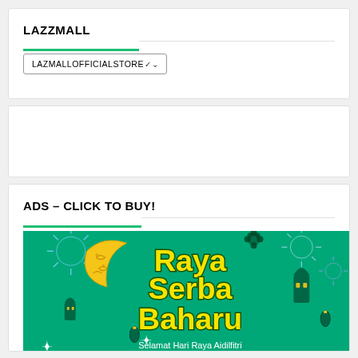LAZZMALL
LAZMALLOFFICIALSTORE
ADS – CLICK TO BUY!
[Figure (illustration): Raya Serba Baharu promotional banner with teal background, crescent moon, lanterns, fireworks and text 'Raya Serba Baharu - Selamat Hari Raya Aidilfitri']